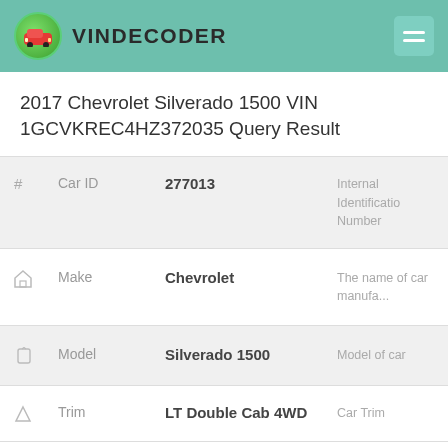VINDECODER
2017 Chevrolet Silverado 1500 VIN 1GCVKREC4HZ372035 Query Result
| # | Field | Value | Description |
| --- | --- | --- | --- |
| # | Car ID | 277013 | Internal Identification Number |
| 🏠 | Make | Chevrolet | The name of car manufacturer |
| 🏷 | Model | Silverado 1500 | Model of car |
| △ | Trim | LT Double Cab 4WD | Car Trim |